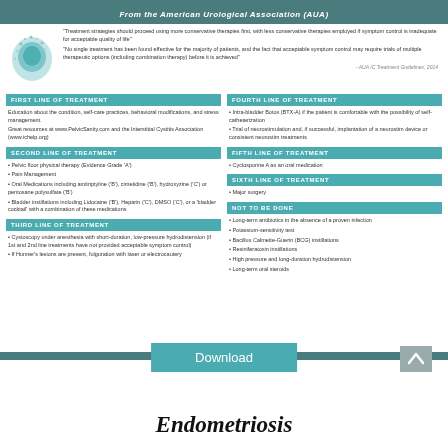From the American Urological Association (AUA)
"Treatment strategies should proceed using more conservative therapies first, with less conservative therapies employed if symptom control is inadequate for acceptable quality of life"
"No single treatment has been found effective for the majority of patients, and the fact that acceptable symptom control may require trials of multiple therapeutic options (including combination therapy) before it is achieved"
- AUA IC Treatment Guidelines, 2014
FIRST LINE OF TREATMENT
Education about the condition, self-care practices, behavioral modifications, and stress management. Great resources at www.PelvicSanity.com and the Interstitial Cystitis Association (www.ichelp.org)
SECOND LINE OF TREATMENT
Pelvic floor physical therapy (Evidence Grade 'A')
Pain Management
Oral Medications including amitriptyline ('B'), cimetidine ('B'), hydroxyzine ('C') or pentosane polysulfate ('B')
Bladder instillations including Lidocaine ('B'), Heparin ('C'), DMSO ('C'), or a 'bladder cocktail' with a combination of these medications
THIRD LINE OF TREATMENT
Cystoscopy under anesthesia with short-duration, low-pressure hydrodistension (if 1st and 2nd line treatments have not provided acceptable symptom control)
If Hunner's lesions are present, fulguration with laser or electrocautery
FOURTH LINE OF TREATMENT
Intra-bladder Botox (BTX-A) if the patient is comfortable with the possibility of self-catheterization
Trial of neurostimulation and, if successful, implantation of a neurostim device or consistent neurostim treatments
FIFTH LINE OF TREATMENT
Cyclosporine A as an oral medication
SIXTH LINE OF TREATMENT
Major surgery
NOT TO BE DONE
Long-term antibiotics in the absence of a proven infection
Potassium-sensitivity test
Bacillus Calmette-Guerin (BCG) instillations
Resiniferatoxin instillations
High pressure and long-duration hydrodistension
Long-term oral steroids
Endometriosis